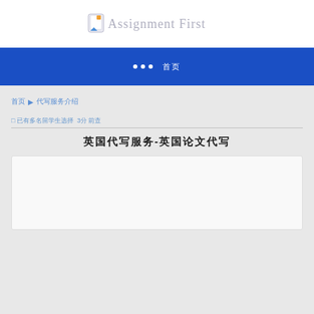[Figure (logo): Assignment First logo with pen icon and stylized script text]
• • •  首页
首页 ▶ 代写服务介绍
□ 已有多名留学生选择 3分 前查
英国代写服务-英国论文代写
[Figure (other): White content box area]